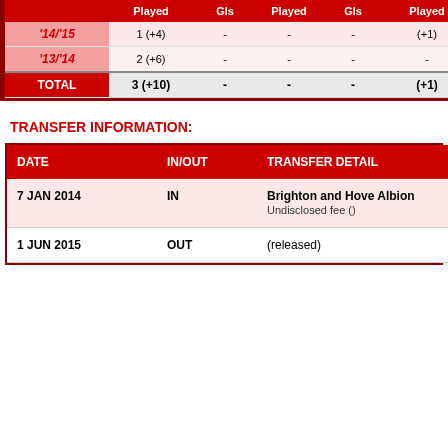|  | Played | Gls | Played | Gls | Played |
| --- | --- | --- | --- | --- | --- |
| '14/'15 | 1 (+4) | - | - | - | (+1) |
| '13/'14 | 2 (+6) | - | - | - | - |
| TOTAL | 3 (+10) | - | - | - | (+1) |
TRANSFER INFORMATION:
| DATE | IN/OUT | TRANSFER DETAIL |
| --- | --- | --- |
| 7 JAN 2014 | IN | Brighton and Hove Albion
Undisclosed fee () |
| 1 JUN 2015 | OUT | (released) |